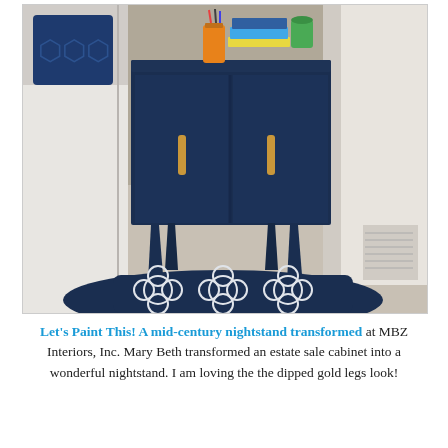[Figure (photo): A mid-century modern nightstand painted in dark navy blue with gold/copper dipped legs and handles, placed next to a bed with white bedding and a navy decorative pillow. A navy quatrefoil rug is in front of the nightstand. Books and small items are on top. The setting is a bedroom with light carpet and white curtains.]
Let's Paint This! A mid-century nightstand transformed at MBZ Interiors, Inc. Mary Beth transformed an estate sale cabinet into a wonderful nightstand. I am loving the the dipped gold legs look!